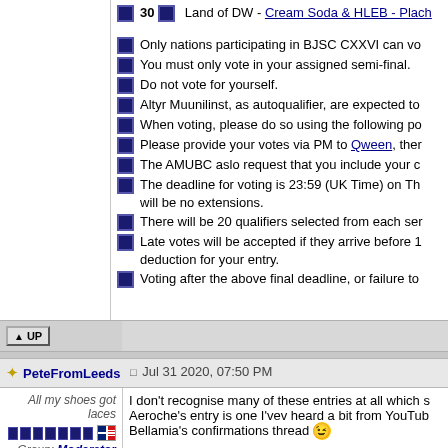30 Land of DW - Cream Soda & HLEB - Plach...
Only nations participating in BJSC CXXVI can vo...
You must only vote in your assigned semi-final.
Do not vote for yourself.
Altyr Muunilinst, as autoqualifier, are expected to...
When voting, please do so using the following po...
Please provide your votes via PM to Qween, ther...
The AMUBC aslo request that you include your c...
The deadline for voting is 23:59 (UK Time) on Th... will be no extensions.
There will be 20 qualifiers selected from each ser...
Late votes will be accepted if they arrive before 1... deduction for your entry.
Voting after the above final deadline, or failure to...
PeteFromLeeds
Jul 31 2020, 07:50 PM
All my shoes got laces
Group: Moderator
I don't recognise many of these entries at all which s... Aeroche's entry is one I'vev heard a bit from YouTub... Bellamia's confirmations thread 😉